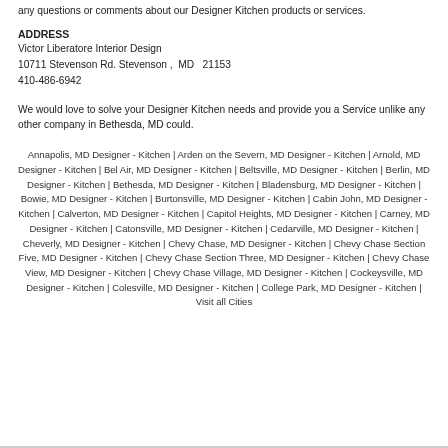any questions or comments about our Designer Kitchen products or services.
ADDRESS
Victor Liberatore Interior Design
10711 Stevenson Rd. Stevenson ,  MD   21153
410-486-6942
We would love to solve your Designer Kitchen needs and provide you a Service unlike any other company in Bethesda, MD could.
Annapolis, MD Designer - Kitchen | Arden on the Severn, MD Designer - Kitchen | Arnold, MD Designer - Kitchen | Bel Air, MD Designer - Kitchen | Beltsville, MD Designer - Kitchen | Berlin, MD Designer - Kitchen | Bethesda, MD Designer - Kitchen | Bladensburg, MD Designer - Kitchen | Bowie, MD Designer - Kitchen | Burtonsville, MD Designer - Kitchen | Cabin John, MD Designer - Kitchen | Calverton, MD Designer - Kitchen | Capitol Heights, MD Designer - Kitchen | Carney, MD Designer - Kitchen | Catonsville, MD Designer - Kitchen | Cedarville, MD Designer - Kitchen | Cheverly, MD Designer - Kitchen | Chevy Chase, MD Designer - Kitchen | Chevy Chase Section Five, MD Designer - Kitchen | Chevy Chase Section Three, MD Designer - Kitchen | Chevy Chase View, MD Designer - Kitchen | Chevy Chase Village, MD Designer - Kitchen | Cockeysville, MD Designer - Kitchen | Colesville, MD Designer - Kitchen | College Park, MD Designer - Kitchen | Visit all Cities